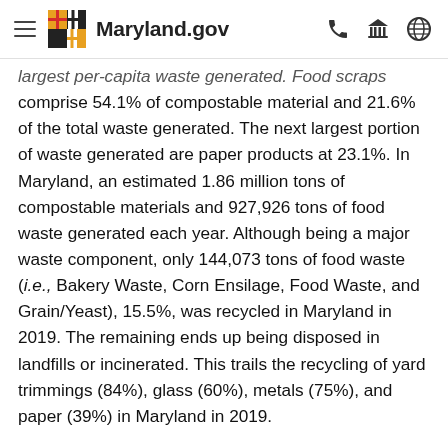Maryland.gov
largest per-capita waste generated. Food scraps comprise 54.1% of compostable material and 21.6% of the total waste generated. The next largest portion of waste generated are paper products at 23.1%. In Maryland, an estimated 1.86 million tons of compostable materials and 927,926 tons of food waste generated each year. Although being a major waste component, only 144,073 tons of food waste (i.e., Bakery Waste, Corn Ensilage, Food Waste, and Grain/Yeast), 15.5%, was recycled in Maryland in 2019. The remaining ends up being disposed in landfills or incinerated. This trails the recycling of yard trimmings (84%), glass (60%), metals (75%), and paper (39%) in Maryland in 2019.
The disposal of food scrap can be prevented by methods such as composting or donation to